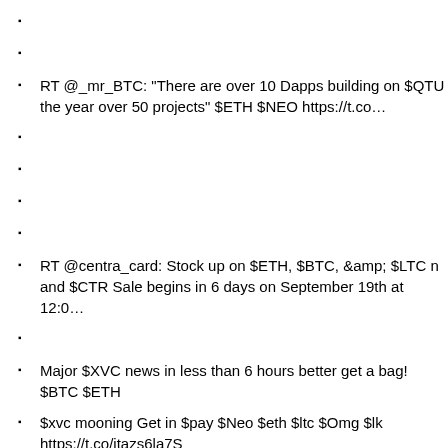RT @_mr_BTC: "There are over 10 Dapps building on $QTU the year over 50 projects" $ETH $NEO https://t.co…
RT @centra_card: Stock up on $ETH, $BTC, &amp; $LTC n and $CTR Sale begins in 6 days on September 19th at 12:0…
Major $XVC news in less than 6 hours better get a bag! $BTC $ETH
$xvc mooning Get in $pay $Neo $eth $ltc $Omg $lk https://t.co/jtazs6la7S